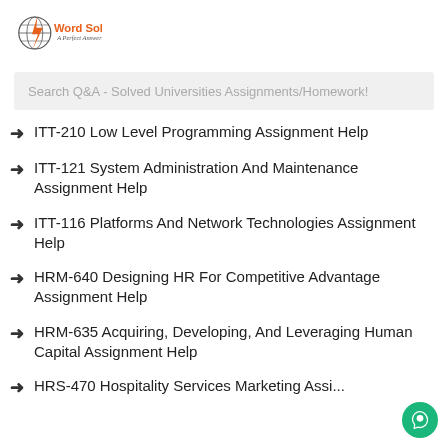[Figure (logo): My Word Solution logo with globe icon and orange lightning bolt, tagline 'A Perfect Answer']
Search Q&A - Solved Universities Assignments/Homework!
ITT-210 Low Level Programming Assignment Help
ITT-121 System Administration And Maintenance Assignment Help
ITT-116 Platforms And Network Technologies Assignment Help
HRM-640 Designing HR For Competitive Advantage Assignment Help
HRM-635 Acquiring, Developing, And Leveraging Human Capital Assignment Help
HRS-470 Hospitality Services Marketing Assi...